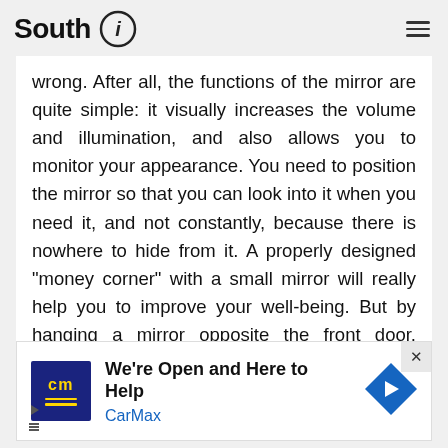South i
wrong. After all, the functions of the mirror are quite simple: it visually increases the volume and illumination, and also allows you to monitor your appearance. You need to position the mirror so that you can look into it when you need it, and not constantly, because there is nowhere to hide from it. A properly designed "money corner" with a small mirror will really help you to improve your well-being. But by hanging a mirror opposite the front door, ordering a chic wardrobe with a mirrored
[Figure (other): CarMax advertisement banner: logo box with 'cm' in yellow on dark blue background, headline 'We're Open and Here to Help', subtext 'CarMax' in blue, and a blue diamond arrow icon on the right.]